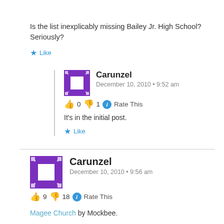Is the list inexplicably missing Bailey Jr. High School? Seriously?
★ Like
Carunzel
December 10, 2010 • 9:52 am
👍 0 👎 1 ℹ Rate This
It's in the initial post.
★ Like
Carunzel
December 10, 2010 • 9:56 am
👍 9 👎 18 ℹ Rate This
Magee Church by Mockbee.